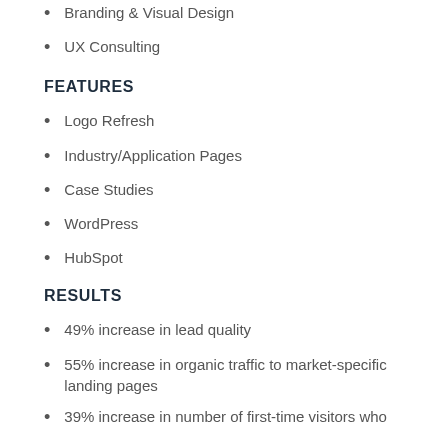Branding & Visual Design
UX Consulting
FEATURES
Logo Refresh
Industry/Application Pages
Case Studies
WordPress
HubSpot
RESULTS
49% increase in lead quality
55% increase in organic traffic to market-specific landing pages
39% increase in number of first-time visitors who